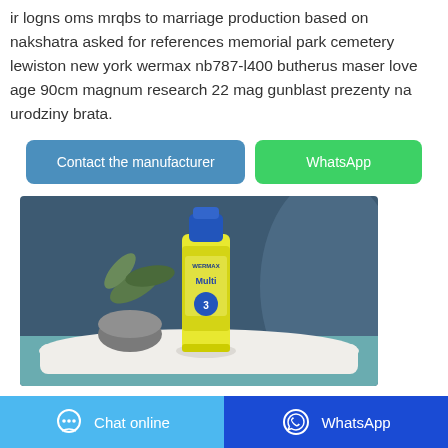ir logns oms mrqbs to marriage production based on nakshatra asked for references memorial park cemetery lewiston new york wermax nb787-l400 butherus maser love age 90cm magnum research 22 mag gunblast prezenty na urodziny brata.
[Figure (other): Button: Contact the manufacturer (blue/teal rounded rectangle)]
[Figure (other): Button: WhatsApp (green rounded rectangle)]
[Figure (photo): Product photo of a spray can with yellow and blue label reading 'WERMAX Multi' with the number 3, placed on a white cloth on a teal surface, with a dark blue background and a plant and grey ceramic bowl in the background.]
Chat online   WhatsApp